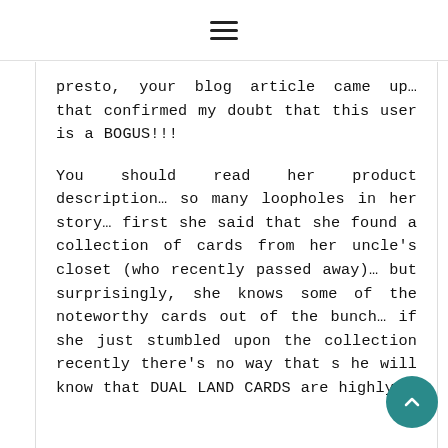☰
presto, your blog article came up… that confirmed my doubt that this user is a BOGUS!!!
You should read her product description… so many loopholes in her story… first she said that she found a collection of cards from her uncle's closet (who recently passed away)… but surprisingly, she knows some of the noteworthy cards out of the bunch… if she just stumbled upon the collection recently there's no way that she will know that DUAL LAND CARDS are highly